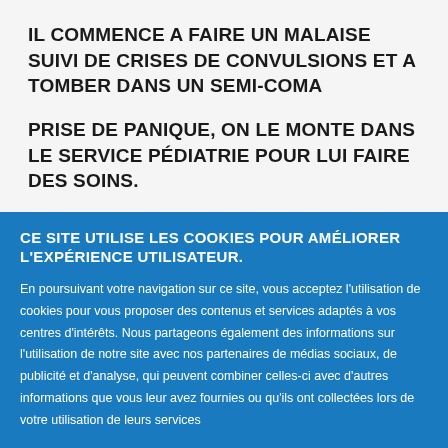IL COMMENCE A FAIRE UN MALAISE SUIVI DE CRISES DE CONVULSIONS ET A TOMBER DANS UN SEMI-COMA
PRISE DE PANIQUE, ON LE MONTE DANS LE SERVICE PÉDIATRIE POUR LUI FAIRE DES SOINS.
CE SITE UTILISE LES COOKIES POUR AMÉLIORER L'EXPÉRIENCE UTILISATEUR.
En poursuivant votre navigation sur ce site, vous acceptez l'utilisation de cookies pour vous proposer des contenus et services adaptés à vos centres d'intérêts. Nous partageons également des informations sur l'utilisation de notre site avec nos partenaires de médias sociaux, de publicité et d'analyse, qui peuvent combiner celles-ci avec d'autres informations que vous leur avez fournies ou qu'ils ont collectées lors de votre utilisation de leurs services
OK
Plus d'infos